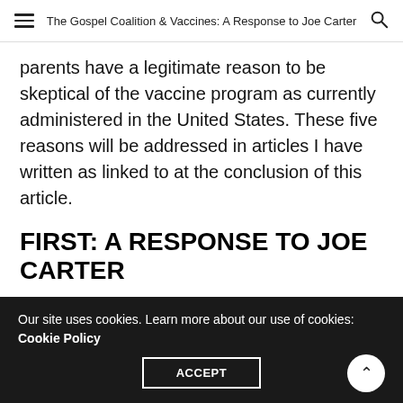The Gospel Coalition & Vaccines: A Response to Joe Carter
parents have a legitimate reason to be skeptical of the vaccine program as currently administered in the United States. These five reasons will be addressed in articles I have written as linked to at the conclusion of this article.
FIRST: A RESPONSE TO JOE CARTER
Joe Carter's article was not a medical journal or a scholarly critique, and that's all well and good as he
Our site uses cookies. Learn more about our use of cookies: Cookie Policy
ACCEPT